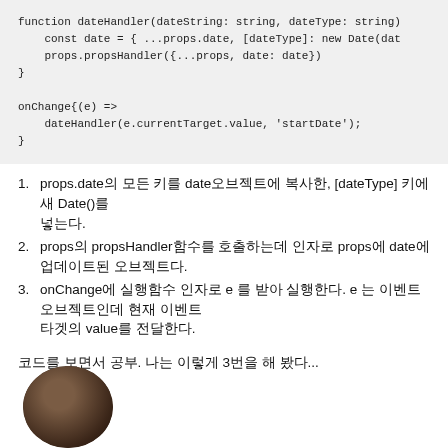function dateHandler(dateString: string, dateType: string)
    const date = { ...props.date, [dateType]: new Date(dat
    props.propsHandler({...props, date: date})
}

onChange{(e) =>
    dateHandler(e.currentTarget.value, 'startDate');
}
props.date의 모든 키를 date오브젝트에 복사한, [dateType] 키에 새 Date()를 넣는다.
props의 propsHandler함수를 호출하는데 인자로 props에 date에 업데이트된 오브젝트다.
onChange에 실행함수 인자로 e 를 받아 실행한다. e 는 이벤트 오브젝트인데 현재 이벤트 타겟의 value를 전달한다.
코드를 보면서 공부. 나는 이렇게 3번을 해 봤다...
[Figure (photo): Circular avatar photo of a person with dark hair]